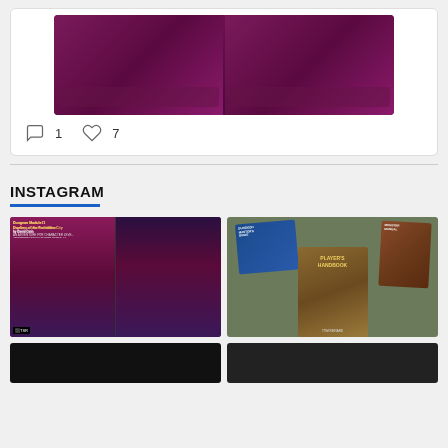[Figure (photo): Two copies of a Dungeons & Dragons module book (back covers showing) with purple/magenta fantasy artwork]
1   7
[Figure (photo): Instagram section header with two photo thumbnails: left shows Dungeon Module I1 'Dwellers of the Forbidden City' by TSR (two editions side by side), right shows D&D Player's Handbook 3rd edition with Dungeon Master's Guide and Monster Manual]
INSTAGRAM
[Figure (photo): Bottom row partial thumbnails, partially visible]
[Figure (photo): Bottom row partial thumbnails, partially visible]